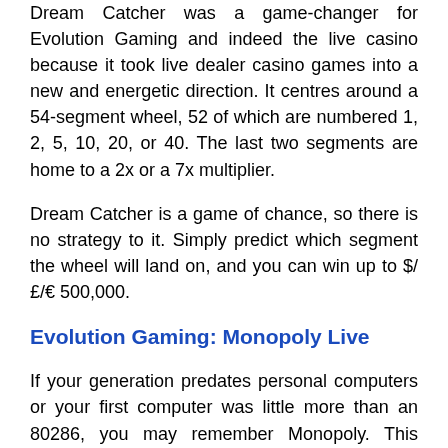Dream Catcher was a game-changer for Evolution Gaming and indeed the live casino because it took live dealer casino games into a new and energetic direction. It centres around a 54-segment wheel, 52 of which are numbered 1, 2, 5, 10, 20, or 40. The last two segments are home to a 2x or a 7x multiplier.
Dream Catcher is a game of chance, so there is no strategy to it. Simply predict which segment the wheel will land on, and you can win up to $/£/€ 500,000.
Evolution Gaming: Monopoly Live
If your generation predates personal computers or your first computer was little more than an 80286, you may remember Monopoly. This Hasbro board game has been around for a long time, and new variants are released all the time.
3D Monopoly Live reinvented the board game into a game show using augmented reality that immerses you into the